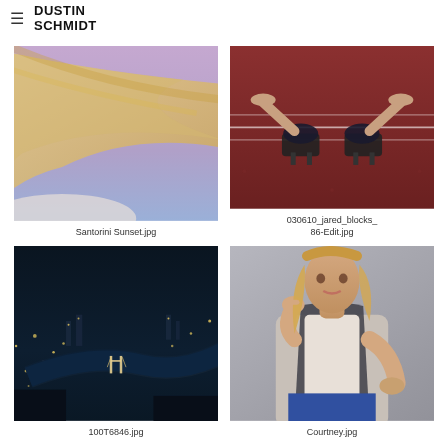DUSTIN SCHMIDT
[Figure (photo): Woman with long blonde hair against a purple/twilight sky background - Santorini Sunset]
Santorini Sunset.jpg
[Figure (photo): Person in starting blocks on a red running track, low angle view]
030610_jared_blocks_86-Edit.jpg
[Figure (photo): Aerial night view of London with Tower Bridge and the Thames river lit up]
100T6846.jpg
[Figure (photo): Young woman in casual outfit with scarf, posing with hand near face on grey background]
Courtney.jpg